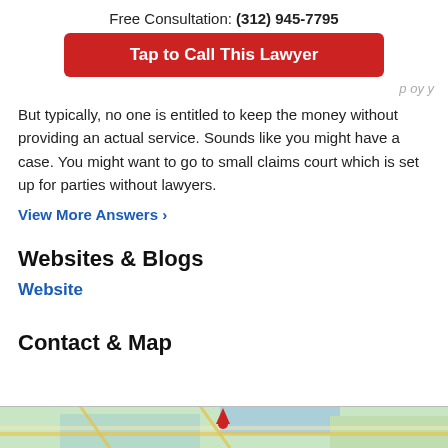Free Consultation: (312) 945-7795
Tap to Call This Lawyer
...p oy y... But typically, no one is entitled to keep the money without providing an actual service. Sounds like you might have a case. You might want to go to small claims court which is set up for parties without lawyers.
View More Answers ›
Websites & Blogs
Website
Contact & Map
[Figure (map): A street map strip showing roads and a location pin at the bottom of the page.]